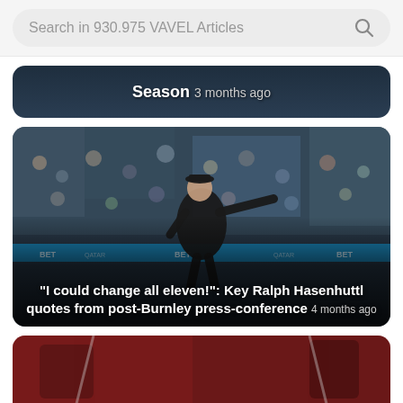Search in 930.975 VAVEL Articles
Season 3 months ago
[Figure (photo): A football manager on the touchline pointing directions to players, with crowd in background and blue advertising boards. Photo taken during a Premier League match at Burnley.]
"I could change all eleven!": Key Ralph Hasenhuttl quotes from post-Burnley press-conference 4 months ago
[Figure (photo): Partial view of a football-related image, appears to show stadium seating or equipment, partially cropped at bottom of page.]